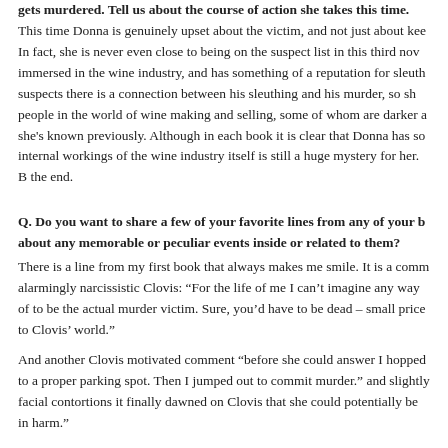gets murdered. Tell us about the course of action she takes this time. This time Donna is genuinely upset about the victim, and not just about keeping herself off the suspect list. In fact, she is never even close to being on the suspect list in this third novel. The victim is a man immersed in the wine industry, and has something of a reputation for sleuthing himself. Donna suspects there is a connection between his sleuthing and his murder, so she digs in. She meets people in the world of wine making and selling, some of whom are darker and more dangerous than she's known previously. Although in each book it is clear that Donna has some wine knowledge, the internal workings of the wine industry itself is still a huge mystery for her. But she figures it out in the end.
Q. Do you want to share a few of your favorite lines from any of your books? Or tell us about any memorable or peculiar events inside or related to them?
There is a line from my first book that always makes me smile. It is a comment made by the alarmingly narcissistic Clovis: “For the life of me I can’t imagine any way of being famous except to be the actual murder victim. Sure, you’d have to be dead – small price to pay to be famous in Clovis’ world.”
And another Clovis motivated comment “before she could answer I hopped out and drove the car to a proper parking spot. Then I jumped out to commit murder.” and slightly later, after various facial contortions it finally dawned on Clovis that she could potentially be in some sort of personal harm.”